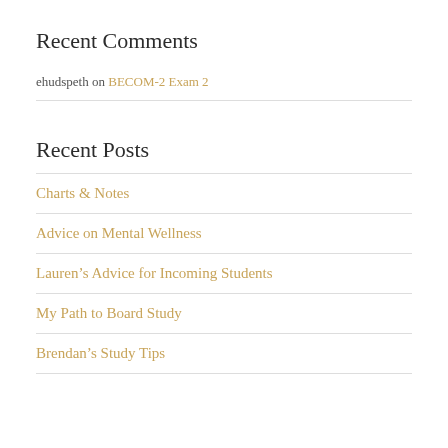Recent Comments
ehudspeth on BECOM-2 Exam 2
Recent Posts
Charts & Notes
Advice on Mental Wellness
Lauren's Advice for Incoming Students
My Path to Board Study
Brendan's Study Tips